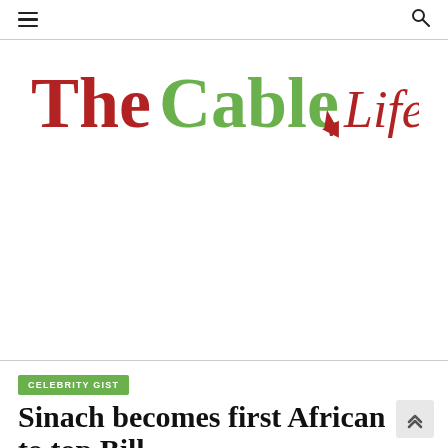Navigation header with hamburger menu and search icon
[Figure (logo): TheCable Lifestyle logo — 'The' in dark red bold serif, 'Cable' in green bold serif with a red cursor/arrow icon, 'Lifestyle' in dark red bold serif]
[Figure (other): Advertisement/blank white space area]
CELEBRITY GIST
Sinach becomes first African to top Bill...